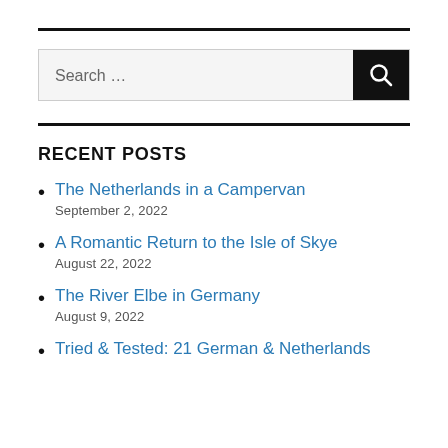[Figure (other): Search bar with text input showing 'Search ...' placeholder and a dark search button with magnifying glass icon]
RECENT POSTS
The Netherlands in a Campervan
September 2, 2022
A Romantic Return to the Isle of Skye
August 22, 2022
The River Elbe in Germany
August 9, 2022
Tried & Tested: 21 German & Netherlands